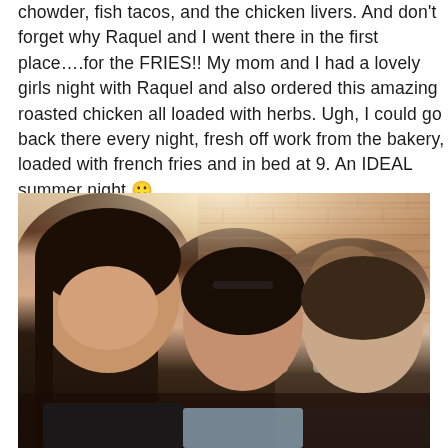chowder, fish tacos, and the chicken livers. And don't forget why Raquel and I went there in the first place….for the FRIES!! My mom and I had a lovely girls night with Raquel and also ordered this amazing roasted chicken all loaded with herbs. Ugh, I could go back there every night, fresh off work from the bakery, loaded with french fries and in bed at 9. An IDEAL summer night 🙂
[Figure (photo): Selfie photo of three women smiling at a restaurant with brick wall background. Two people visible in the background.]